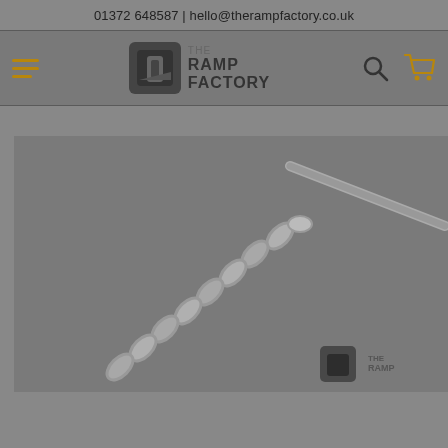01372 648587 | hello@therampfactory.co.uk
[Figure (logo): The Ramp Factory logo with hamburger menu, search icon, and cart icon in navigation bar]
[Figure (photo): Close-up photo of a metal chain or ramp anchor chain against a gray background, with The Ramp Factory watermark logo in the bottom right corner]